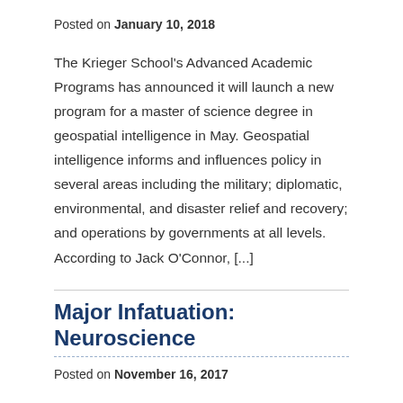Posted on January 10, 2018
The Krieger School's Advanced Academic Programs has announced it will launch a new program for a master of science degree in geospatial intelligence in May. Geospatial intelligence informs and influences policy in several areas including the military; diplomatic, environmental, and disaster relief and recovery; and operations by governments at all levels. According to Jack O'Connor, [...]
Major Infatuation: Neuroscience
Posted on November 16, 2017
Neuroscience, a popular major at JHU, is the study of the structure or function of the nervous system